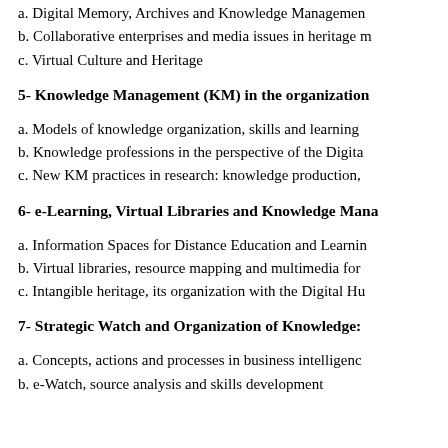a. Digital Memory, Archives and Knowledge Management
b. Collaborative enterprises and media issues in heritage m
c. Virtual Culture and Heritage
5- Knowledge Management (KM) in the organization
a. Models of knowledge organization, skills and learning
b. Knowledge professions in the perspective of the Digita
c. New KM practices in research: knowledge production,
6- e-Learning, Virtual Libraries and Knowledge Mana
a. Information Spaces for Distance Education and Learnin
b. Virtual libraries, resource mapping and multimedia for
c. Intangible heritage, its organization with the Digital Hu
7- Strategic Watch and Organization of Knowledge:
a. Concepts, actions and processes in business intelligenc
b. e-Watch, source analysis and skills development